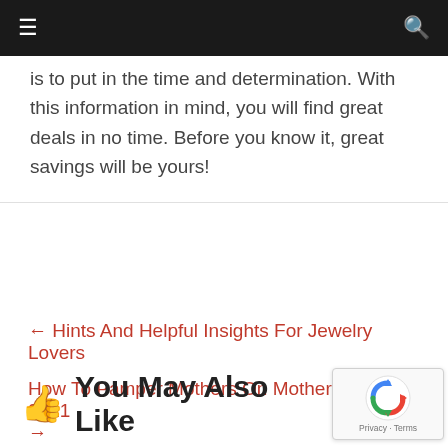≡  🔍
is to put in the time and determination. With this information in mind, you will find great deals in no time. Before you know it, great savings will be yours!
← Hints And Helpful Insights For Jewelry Lovers
How To Pamper Mothers On Mother's Day 2021 →
👍 You May Also Like